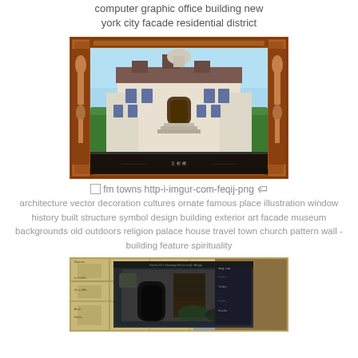computer graphic office building new york city facade residential district
[Figure (illustration): FM Towns game screenshot showing a Victorian/European style mansion with ornate brown decorative frame border, blue sky background, building with arched entrance and hedges]
fm towns http-i-imgur-com-feqij-png
architecture vector decoration cultures ornate famous place illustration window history built structure symbol design building exterior art facade museum backgrounds old outdoors religion palace house travel town church pattern wall - building feature spirituality
[Figure (screenshot): Pixelated/retro computer game screenshot showing a dark interior room scene with map overlay, appears to be an old PC game with isometric or top-down view]